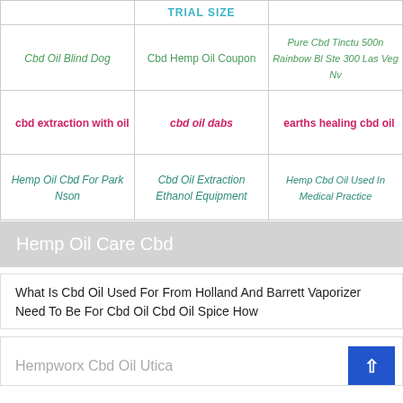|  | TRIAL SIZE |  |
| --- | --- | --- |
| Cbd Oil Blind Dog | Cbd Hemp Oil Coupon | Pure Cbd Tincture 500n Rainbow Bl Ste 300 Las Vegas Nv |
| cbd extraction with oil | cbd oil dabs | earths healing cbd oil |
| Hemp Oil Cbd For Park Nson | Cbd Oil Extraction Ethanol Equipment | Hemp Cbd Oil Used In Medical Practice |
Hemp Oil Care Cbd
What Is Cbd Oil Used For From Holland And Barrett Vaporizer Need To Be For Cbd Oil Cbd Oil Spice How
Hempworx Cbd Oil Utica